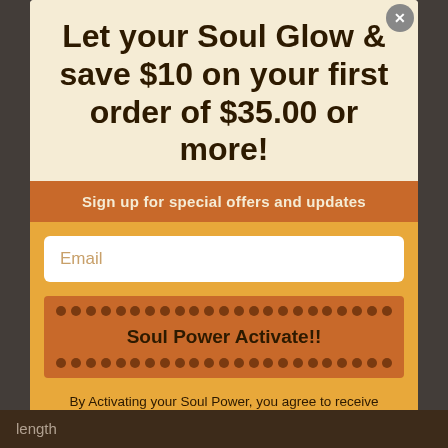Let your Soul Glow & save $10 on your first order of $35.00 or more!
Sign up for special offers and updates
Email
Soul Power Activate!!
By Activating your Soul Power, you agree to receive promotions and special offers via email.
No, thanks
length